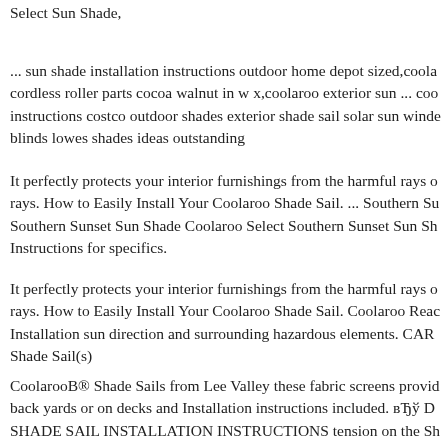Select Sun Shade,
... sun shade installation instructions outdoor home depot sized,coolaroo cordless roller parts cocoa walnut in w x,coolaroo exterior sun ... coo instructions costco outdoor shades exterior shade sail solar sun winde blinds lowes shades ideas outstanding
It perfectly protects your interior furnishings from the harmful rays o rays. How to Easily Install Your Coolaroo Shade Sail. ... Southern Su Southern Sunset Sun Shade Coolaroo Select Southern Sunset Sun Sh Instructions for specifics.
It perfectly protects your interior furnishings from the harmful rays of rays. How to Easily Install Your Coolaroo Shade Sail. Coolaroo Reac Installation sun direction and surrounding hazardous elements. CAR Shade Sail(s)
CoolarooB® Shade Sails from Lee Valley these fabric screens provid back yards or on decks and Installation instructions included. вЂў D SHADE SAIL INSTALLATION INSTRUCTIONS tension on the Sh